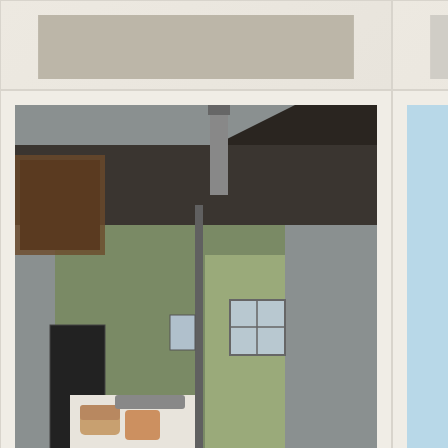[Figure (photo): Partial top of grid cell - top left, cropped photo area]
[Figure (photo): Partial top of grid cell - top right, cropped light area]
[Figure (photo): Wood fired oven and chimney on side of house in Austria, photo by Robert]
Wood fired family oven and chimney project by Robert in Austria
[Figure (photo): Light blue rectangle placeholder image for oven with fireplace by Joel in Philippines]
My oven with fireplace, cook food and heat water, by Joel in Philippines
[Figure (photo): Partial bottom of grid cell - bottom left, cropped]
[Figure (photo): Partial bottom of grid cell - bottom right, cropped]